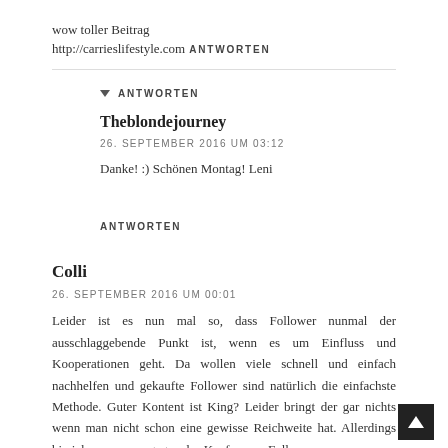wow toller Beitrag
http://carrieslifestyle.com
ANTWORTEN
▼ ANTWORTEN
Theblondejourney
26. SEPTEMBER 2016 UM 03:12
Danke! :) Schönen Montag! Leni
ANTWORTEN
Colli
26. SEPTEMBER 2016 UM 00:01
Leider ist es nun mal so, dass Follower nunmal der ausschlaggebende Punkt ist, wenn es um Einfluss und Kooperationen geht. Da wollen viele schnell und einfach nachhelfen und gekaufte Follower sind natürlich die einfachste Methode. Guter Kontent ist King? Leider bringt der gar nichts wenn man nicht schon eine gewisse Reichweite hat. Allerdings bin ich sowas von gegen das Kaufen von Followern.